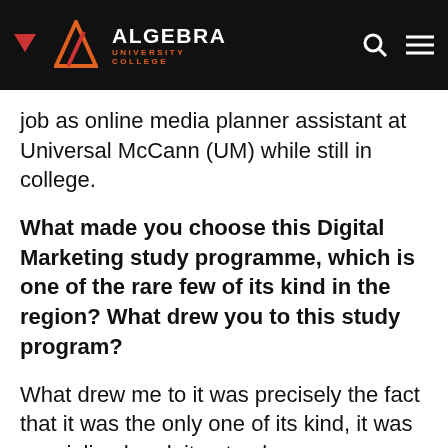ALGEBRA UNIVERSITY COLLEGE
job as online media planner assistant at Universal McCann (UM) while still in college.
What made you choose this Digital Marketing study programme, which is one of the rare few of its kind in the region? What drew you to this study program?
What drew me to it was precisely the fact that it was the only one of its kind, it was specialized and, it not only